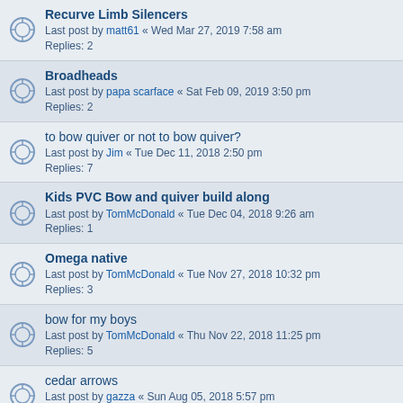Recurve Limb Silencers
Last post by matt61 « Wed Mar 27, 2019 7:58 am
Replies: 2
Broadheads
Last post by papa scarface « Sat Feb 09, 2019 3:50 pm
Replies: 2
to bow quiver or not to bow quiver?
Last post by Jim « Tue Dec 11, 2018 2:50 pm
Replies: 7
Kids PVC Bow and quiver build along
Last post by TomMcDonald « Tue Dec 04, 2018 9:26 am
Replies: 1
Omega native
Last post by TomMcDonald « Tue Nov 27, 2018 10:32 pm
Replies: 3
bow for my boys
Last post by TomMcDonald « Thu Nov 22, 2018 11:25 pm
Replies: 5
cedar arrows
Last post by gazza « Sun Aug 05, 2018 5:57 pm
Replies: 5
Looks like Taxus Baccata?
Last post by greybeard « Wed Jul 04, 2018 4:02 pm
Replies: 6
What wood is this?
Last post by hunterguy1991 « Wed Jun 27, 2018 7:49 am
Replies: 5
I want to build my first bow, lots of questions..
Last post by HPAL « Mon Jun 25, 2018 5:01 pm
Replies: 6